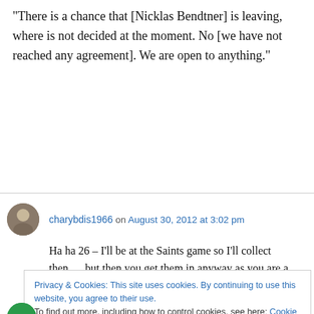“There is a chance that [Nicklas Bendtner] is leaving, where is not decided at the moment. No [we have not reached any agreement]. We are open to anything.”
charybdis1966 on August 30, 2012 at 3:02 pm
Ha ha 26 – I’ll be at the Saints game so I’ll collect then…..but then you get them in anyway as you are a gent (doffs cap).
Privacy & Cookies: This site uses cookies. By continuing to use this website, you agree to their use. To find out more, including how to control cookies, see here: Cookie Policy
Close and accept
Say from Australia on August 30, 2012 at 3:02 pm